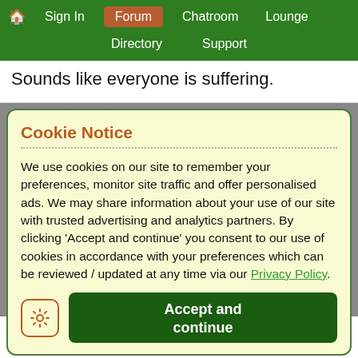🏠 Sign In | Forum | Chatroom | Lounge | Directory | Support
Sounds like everyone is suffering.
Cookie Notice
We use cookies on our site to remember your preferences, monitor site traffic and offer personalised ads. We may share information about your use of our site with trusted advertising and analytics partners. By clicking 'Accept and continue' you consent to our use of cookies in accordance with your preferences which can be reviewed / updated at any time via our Privacy Policy.
Accept and continue